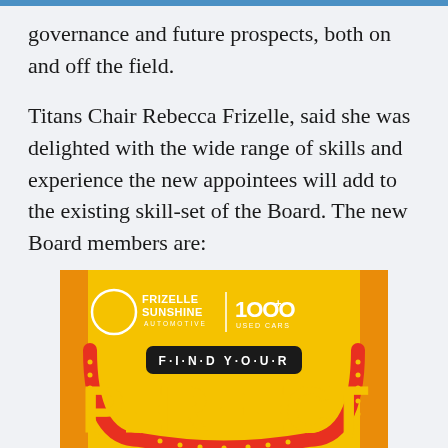governance and future prospects, both on and off the field.
Titans Chair Rebecca Frizelle, said she was delighted with the wide range of skills and experience the new appointees will add to the existing skill-set of the Board. The new Board members are:
[Figure (advertisement): Frizelle Sunshine Automotive advertisement on yellow background with '1000+ Used Cars' and 'FIND YOUR PERFECT' text with neon sign styling]